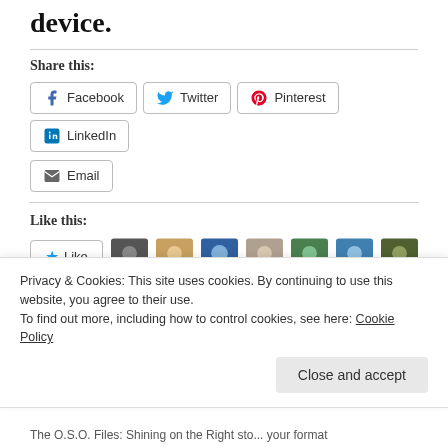device.
Share this:
Facebook  Twitter  Pinterest  LinkedIn  Email
Like this:
Like  7 bloggers like this.
Related
[Figure (photo): Related articles image strip showing partial colorful images]
Privacy & Cookies: This site uses cookies. By continuing to use this website, you agree to their use.
To find out more, including how to control cookies, see here: Cookie Policy
Close and accept
The O.S.O. Files: Shining on the Right sto... your format